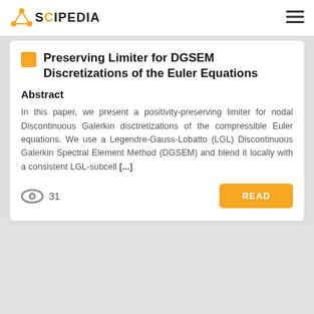SCIPEDIA
Preserving Limiter for DGSEM Discretizations of the Euler Equations
Abstract
In this paper, we present a positivity-preserving limiter for nodal Discontinuous Galerkin disctretizations of the compressible Euler equations. We use a Legendre-Gauss-Lobatto (LGL) Discontinuous Galerkin Spectral Element Method (DGSEM) and blend it locally with a consistent LGL-subcell [...]
31